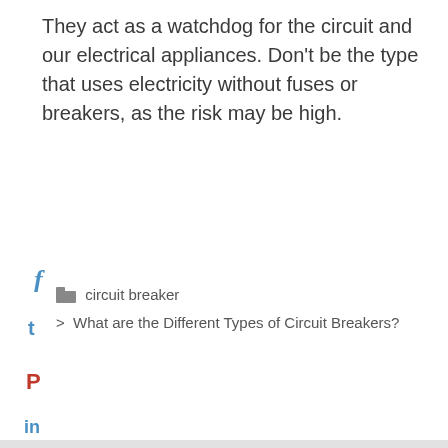They act as a watchdog for the circuit and our electrical appliances. Don't be the type that uses electricity without fuses or breakers, as the risk may be high.
circuit breaker
> What are the Different Types of Circuit Breakers?
Recent Posts
What are 15 amp Breakers Used for?